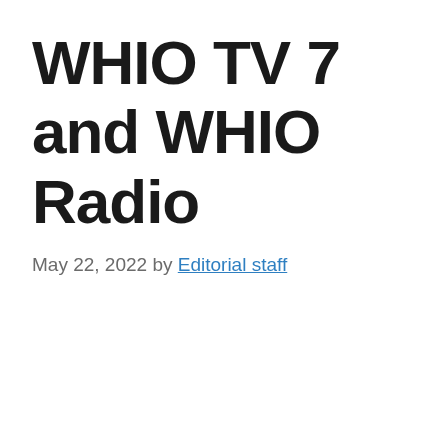WHIO TV 7 and WHIO Radio
May 22, 2022 by Editorial staff